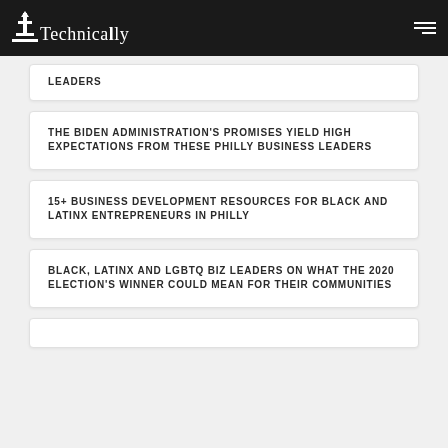Technically
LEADERS
THE BIDEN ADMINISTRATION'S PROMISES YIELD HIGH EXPECTATIONS FROM THESE PHILLY BUSINESS LEADERS
15+ BUSINESS DEVELOPMENT RESOURCES FOR BLACK AND LATINX ENTREPRENEURS IN PHILLY
BLACK, LATINX AND LGBTQ BIZ LEADERS ON WHAT THE 2020 ELECTION'S WINNER COULD MEAN FOR THEIR COMMUNITIES